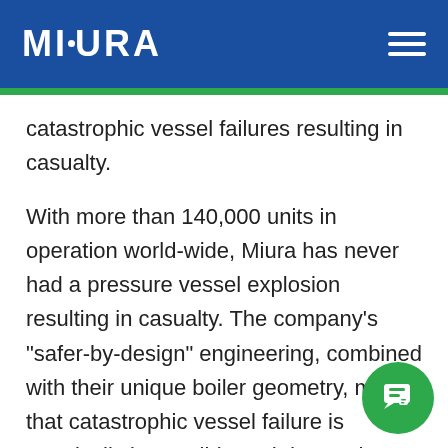MIURA
catastrophic vessel failures resulting in casualty.
With more than 140,000 units in operation world-wide, Miura has never had a pressure vessel explosion resulting in casualty. The company’s “safer-by-design” engineering, combined with their unique boiler geometry, means that catastrophic vessel failure is practically impossible and day-to-day safety issues related